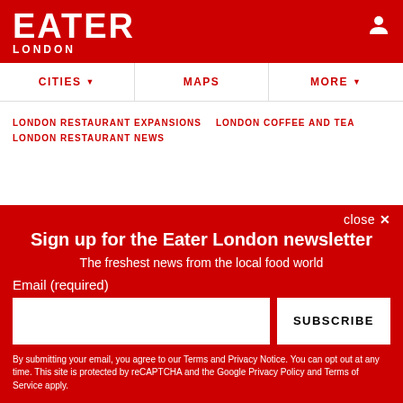EATER LONDON
CITIES  MAPS  MORE
LONDON RESTAURANT EXPANSIONS  LONDON COFFEE AND TEA
LONDON RESTAURANT NEWS
close ×
Sign up for the Eater London newsletter
The freshest news from the local food world
Email (required)
SUBSCRIBE
By submitting your email, you agree to our Terms and Privacy Notice. You can opt out at any time. This site is protected by reCAPTCHA and the Google Privacy Policy and Terms of Service apply.